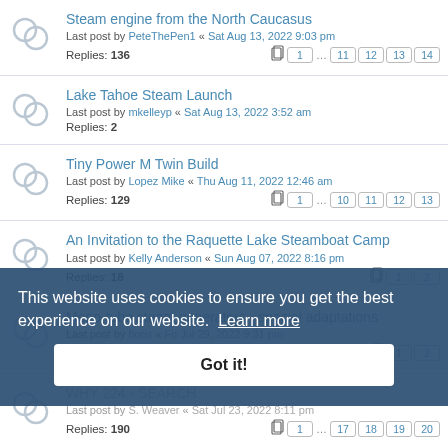Steam engine from the North Caucasus
Last post by PeteThePen1 « Sat Aug 13, 2022 9:03 pm
Replies: 136  pages: 1 ... 11 12 13 14
Lake Tahoe Steam Launch
Last post by mkelleyp « Sat Aug 13, 2022 3:52 am
Replies: 2
Tiny Power M Twin Build
Last post by Lopez Mike « Thu Aug 11, 2022 12:46 am
Replies: 129  pages: 1 ... 10 11 12 13
An Invitation to the Raquette Lake Steamboat Camp
Last post by Kelly Anderson « Sun Aug 07, 2022 8:16 pm
Replies: 18  pages: 1 2
Mono-tube steam generators - special adaptations
Last post by boris « Fri Jul 29, 2022 9:31 pm
Replies: ...  pages: 1 2
WHY 224 - SEARCH
Last post by S. Weaver « Sat Jul 23, 2022 8:11 pm
Replies: 190  pages: 1 ... 17 18 19 20
TWIN 32 x 38 mm – steam engine for small boats or canoes
This website uses cookies to ensure you get the best experience on our website.  Learn more
Got it!